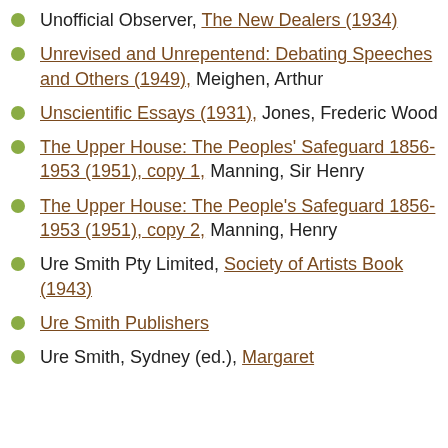Unofficial Observer, The New Dealers (1934)
Unrevised and Unrepentend: Debating Speeches and Others (1949), Meighen, Arthur
Unscientific Essays (1931), Jones, Frederic Wood
The Upper House: The Peoples' Safeguard 1856-1953 (1951), copy 1, Manning, Sir Henry
The Upper House: The People's Safeguard 1856-1953 (1951), copy 2, Manning, Henry
Ure Smith Pty Limited, Society of Artists Book (1943)
Ure Smith Publishers
Ure Smith, Sydney (ed.), Margaret